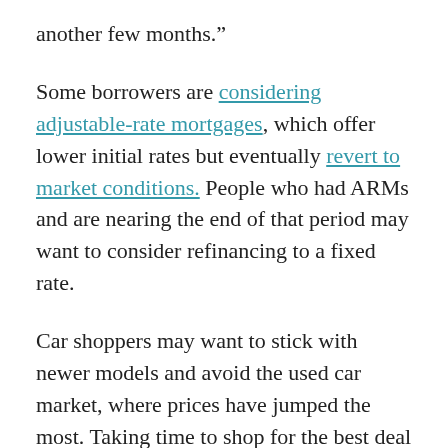another few months.”
Some borrowers are considering adjustable-rate mortgages, which offer lower initial rates but eventually revert to market conditions. People who had ARMs and are nearing the end of that period may want to consider refinancing to a fixed rate.
Car shoppers may want to stick with newer models and avoid the used car market, where prices have jumped the most. Taking time to shop for the best deal you can find is also in your best interest.
“There’s still a lot of value out there,” said Jacqui Kearns, chief brand and strategy officer at Affinity Federal Credit Union in New Jersey, adding that while rates are rising, they’re still historically low.